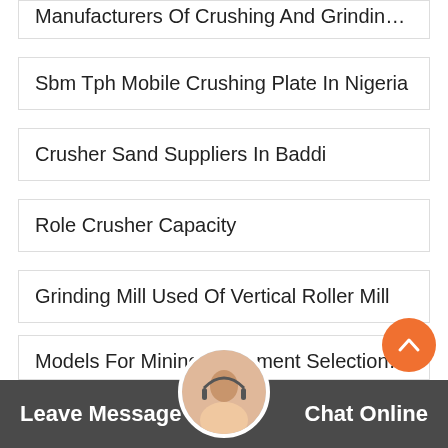Manufacturers Of Crushing And Grinding Equipment For Th...
Sbm Tph Mobile Crushing Plate In Nigeria
Crusher Sand Suppliers In Baddi
Role Crusher Capacity
Grinding Mill Used Of Vertical Roller Mill
Stone Crusher Industry In Philippines
Tronys Gold Mining Company In Guyana
Models For Mining Equipment Selection 1Bu...
Leave Message   Chat Online